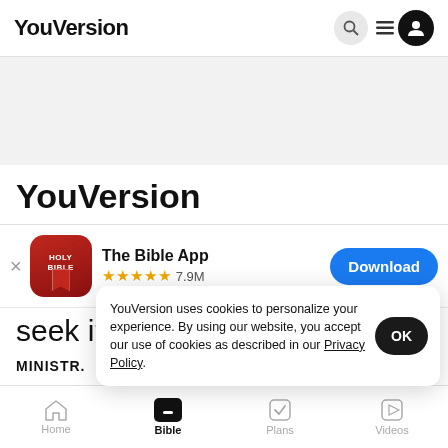YouVersion
YouVersion
[Figure (screenshot): App Store download banner for The Bible App with HOLY BIBLE icon, 4.5 stars rating, 7.9M reviews, and a blue Download button]
seek i  tion  i h Go  a  d
MINISTR.
YouVersion uses cookies to personalize your experience. By using our website, you accept our use of cookies as described in our Privacy Policy.
Home  Bible  Plans  Videos